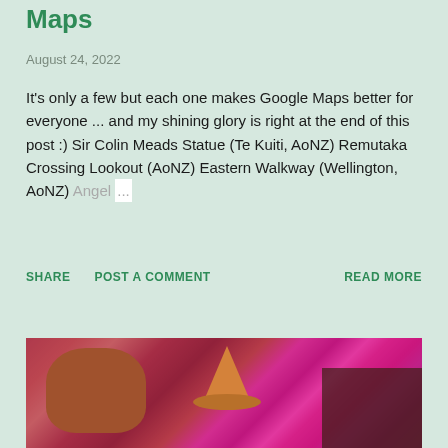Maps
August 24, 2022
It's only a few but each one makes Google Maps better for everyone ... and my shining glory is right at the end of this post :) Sir Colin Meads Statue (Te Kuiti, AoNZ) Remutaka Crossing Lookout (AoNZ) Eastern Walkway (Wellington, AoNZ) Angel ...
SHARE   POST A COMMENT   READ MORE
[Figure (photo): A colourful bar scene with a leather saddle prop on the left, a large sombrero hat in the centre, and a bar counter on the right, lit with vivid pink/magenta lighting.]